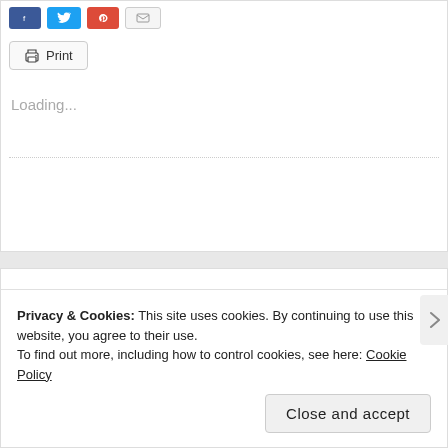[Figure (screenshot): Share buttons row: Facebook (blue), Twitter (light blue), Pinterest (red), Email (gray)]
[Figure (screenshot): Print button with printer icon]
Loading...
Reading Next — Recipes About
Privacy & Cookies: This site uses cookies. By continuing to use this website, you agree to their use.
To find out more, including how to control cookies, see here: Cookie Policy
Close and accept